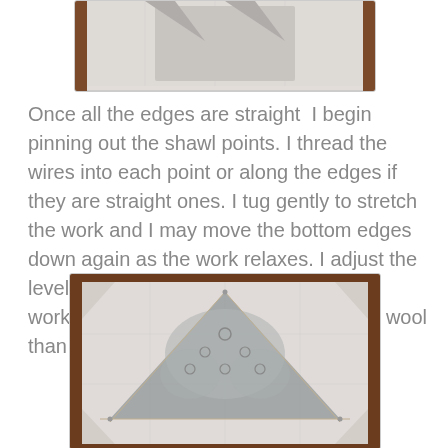[Figure (photo): Top partial photo of a shawl blocking board with white foam tiles and dark wooden edges, partially cropped at the top of the page.]
Once all the edges are straight  I begin pinning out the shawl points. I thread the wires into each point or along the edges if they are straight ones. I tug gently to stretch the work and I may move the bottom edges down again as the work relaxes. I adjust the level of stretch according to the fibre I'm working with. I pull more firmly on 100% wool than I do with silk and cashmere.
[Figure (photo): Photo of a grey lace knitted shawl being blocked on a white foam surface, with blocking wires threaded through the lace points and dark wooden board visible around the edges.]